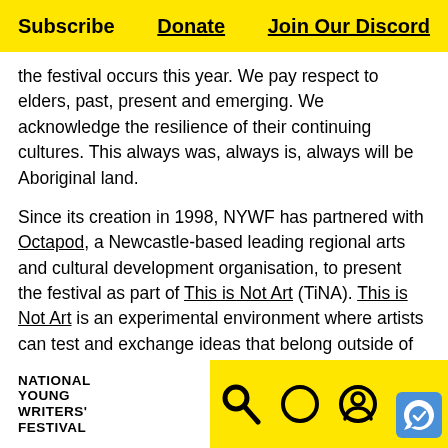Subscribe   Donate   Join Our Discord
the festival occurs this year. We pay respect to elders, past, present and emerging. We acknowledge the resilience of their continuing cultures. This always was, always is, always will be Aboriginal land.

Since its creation in 1998, NYWF has partnered with Octapod, a Newcastle-based leading regional arts and cultural development organisation, to present the festival as part of This is Not Art (TiNA). This is Not Art is an experimental environment where artists can test and exchange ideas that belong outside of institutions. It usually comprises three sub-festivals: Crack Theatre Festival, Critical Animals and the National Young Writers' Festival, and in the past has included special guest events from Electrofringe and City Evolutions. In are presenting NYWF as a solo festival wh
NATIONAL YOUNG WRITERS' FESTIVAL